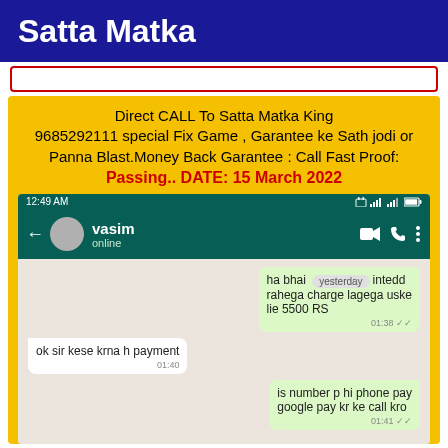Satta Matka
Direct CALL To Satta Matka King 9685292111 special Fix Game , Garantee ke Sath jodi or Panna Blast.Money Back Garantee : Call Fast Proof: Passing.. DATE: 15 March 2022
[Figure (screenshot): WhatsApp chat screenshot between user and vasim. Chat shows messages: 'ha bhai [yesterday] intedd rahega charge lagega uske lie 5500 RS 01:38', 'ok sir kese krna h payment 01:40', 'is number p hi phone pay google pay kr ke call kro 01:41']